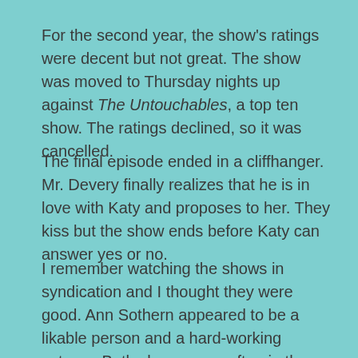For the second year, the show's ratings were decent but not great. The show was moved to Thursday nights up against The Untouchables, a top ten show. The ratings declined, so it was cancelled.
The final episode ended in a cliffhanger. Mr. Devery finally realizes that he is in love with Katy and proposes to her. They kiss but the show ends before Katy can answer yes or no.
I remember watching the shows in syndication and I thought they were good. Ann Sothern appeared to be a likable person and a hard-working actress. Both shows were often in the top 25% of the ratings. With all the reboots that have been done, I have never heard of either of these shows as possibilities and they seem to